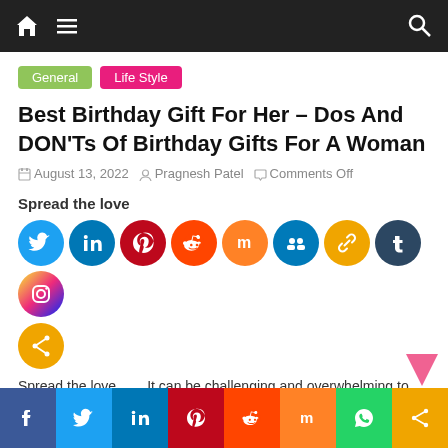Navigation bar with home, menu, and search icons
General  Life Style
Best Birthday Gift For Her – Dos And DON'Ts Of Birthday Gifts For A Woman
August 13, 2022  Pragnesh Patel  Comments Off
Spread the love
[Figure (infographic): Row of social media sharing icons: Twitter, LinkedIn, Pinterest, Reddit, Mix, Myspace/Friends, Copy Link, Tumblr, Instagram, and a Share button]
Spread the love        It can be challenging and overwhelming to find the best birthday gift for her, whether you're shopping for
Social share bottom bar: Facebook, Twitter, LinkedIn, Pinterest, Reddit, Mix, WhatsApp, Share